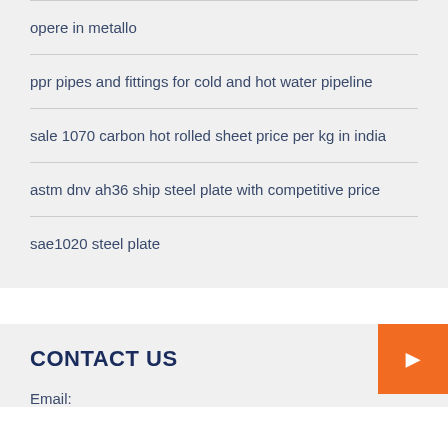opere in metallo
ppr pipes and fittings for cold and hot water pipeline
sale 1070 carbon hot rolled sheet price per kg in india
astm dnv ah36 ship steel plate with competitive price
sae1020 steel plate
CONTACT US
Email: